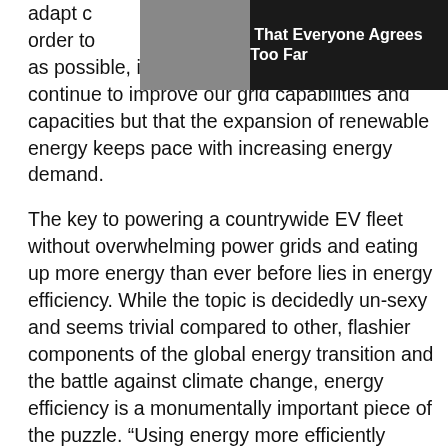[Figure (other): Advertisement overlay with dark background showing text 'Love Scenes That Everyone Agrees Took Things Too Far' with a person's image on the left side]
adapt c[...] and. In order to [...] riendly as possible, it's imperative that we not only continue to improve our grid capabilities and capacities but that the expansion of renewable energy keeps pace with increasing energy demand.
The key to powering a countrywide EV fleet without overwhelming power grids and eating up more energy than ever before lies in energy efficiency. While the topic is decidedly un-sexy and seems trivial compared to other, flashier components of the global energy transition and the battle against climate change, energy efficiency is a monumentally important piece of the puzzle. “Using energy more efficiently accounts for the largest share — nearly 40% — of the reductions in heat-trapping emissions needed to meet the goals of the Paris Climate Agreement,” Axios reported in October. And while EVs are huge energy guzzlers, they are much, much more energy-efficient than combustion engines, according to Futurism.